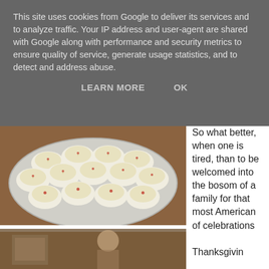This site uses cookies from Google to deliver its services and to analyze traffic. Your IP address and user-agent are shared with Google along with performance and security metrics to ensure quality of service, generate usage statistics, and to detect and address abuse.
LEARN MORE    OK
[Figure (photo): A silver platter filled with deviled eggs topped with paprika and breadcrumbs, on a wooden table.]
So what better, when one is tired, than to be welcomed into the bosom of a family for that most American of celebrations
[Figure (photo): Partial view of a person in a room with warm lighting.]
Thanksgivin